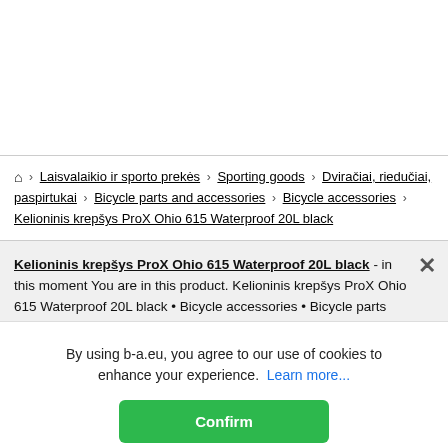🏠 > Laisvalaikio ir sporto prekės > Sporting goods > Dviračiai, riedučiai, paspirtukai > Bicycle parts and accessories > Bicycle accessories > Kelioninis krepšys ProX Ohio 615 Waterproof 20L black
Kelioninis krepšys ProX Ohio 615 Waterproof 20L black - in this moment You are in this product. Kelioninis krepšys ProX Ohio 615 Waterproof 20L black • Bicycle accessories • Bicycle parts and accessories • Dviračiai, riedučiai, paspirtukai • Sporting gooo... kio ir sporto prekės, kaina internetu. This product belong... Bicycle accessories. Buying online this
By using b-a.eu, you agree to our use of cookies to enhance your experience. Learn more...
Confirm